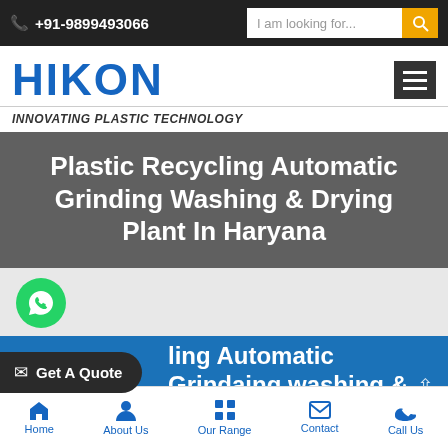+91-9899493066
[Figure (logo): HIKON logo with text INNOVATING PLASTIC TECHNOLOGY]
Plastic Recycling Automatic Grinding Washing & Drying Plant In Haryana
[Figure (other): WhatsApp chat button (green circle with WhatsApp icon)]
Get A Quote   ling Automatic Grindaing washing & Drying
Home  About Us  Our Range  Contact  Call Us